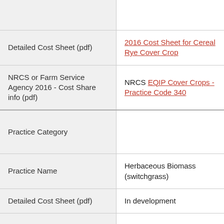|  |  |
| Detailed Cost Sheet (pdf) | 2016 Cost Sheet for Cereal Rye Cover Crop |
| NRCS or Farm Service Agency 2016 - Cost Share info (pdf) | NRCS EQIP Cover Crops - Practice Code 340 |
| Practice Category |  |
| Practice Name | Herbaceous Biomass (switchgrass) |
| Detailed Cost Sheet (pdf) | In development |
| NRCS or Farm |  |